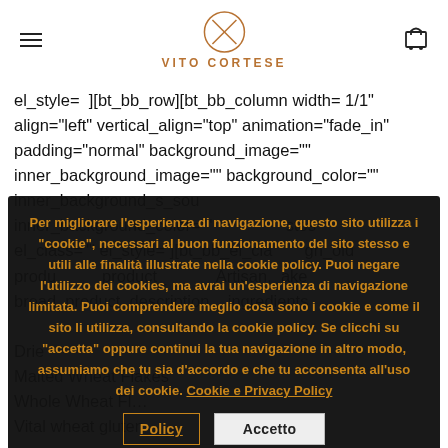VITO CORTESE
el_style= ][bt_bb_row][bt_bb_column width= 1/1 align="left" vertical_align="top" animation="fade_in" padding="normal" background_image="" inner_background_image="" background_color="" inner_background_color="" el_class="" el_style= ][bt_bb_el_class... product... Artisan,ake bread product_description_ingredients
Dried…
Malted Wheat Flakes
Whole Wheat Fl…
Vital wheat gluten
Per migliorare l'esperienza di navigazione, questo sito utilizza i "cookie", necessari al buon funzionamento del sito stesso e utili alle finalità illustrate nella cookie policy. Puoi negare l'utilizzo dei cookies, ma avrai un'esperienza di navigazione limitata. Puoi comprendere meglio cosa sono i cookie e come il sito li utilizza, consultando la cookie policy. Se clicchi su "accetta" oppure continui la tua navigazione in altro modo, assumiamo che tu sia d'accordo e che tu acconsenta all'uso dei cookie. Cookie e Privacy Policy  Accetto